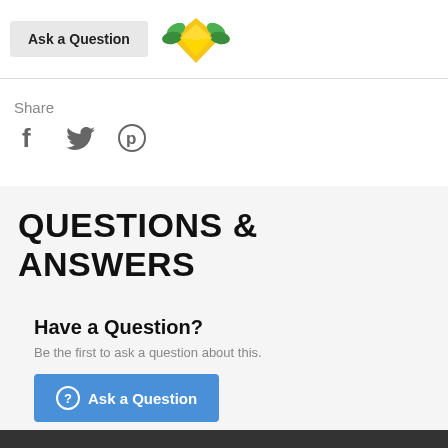[Figure (illustration): Ask a Question button (gray) and a decorative badge/award icon (green and gold)]
Share
[Figure (illustration): Social media icons: Facebook (f), Twitter (bird), Pinterest (P circle)]
QUESTIONS & ANSWERS
Have a Question?
Be the first to ask a question about this.
[Figure (illustration): Blue Ask a Question button with a question mark circle icon]